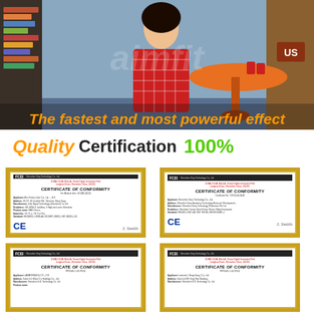[Figure (photo): Young woman in red checkered dress sitting in a styled cafe/shop setting with orange table and bookshelves, with watermark text overlay. Text overlay reads 'The fastest and most powerful effect' in orange italic bold.]
Quality Certification 100%
[Figure (photo): Four CE Certificate of Conformity documents in gold frames arranged in a 2x2 grid]
CERTIFICATE OF CONFORMITY (x4 shown in gold frames)